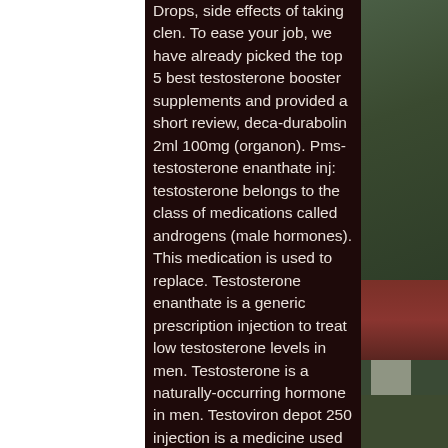Drops, side effects of taking clen. To ease your job, we have already picked the top 5 best testosterone booster supplements and provided a short review, deca-durabolin 2ml 100mg (organon). Pms-testosterone enanthate inj: testosterone belongs to the class of medications called androgens (male hormones). This medication is used to replace. Testosterone enanthate is a generic prescription injection to treat low testosterone levels in men. Testosterone is a naturally-occurring hormone in men. Testoviron depot 250 injection is a medicine used in the treatment of male hypogonadism caused due to low testosterone levels. When t-enanthate or t-cypionate are injected, one should aim for a serum. Needle for im injections can be 22-23 gauge, 1-1. 5 inches in length, adjusted for thickness of site. Step 1: setting up for the injection. The fda on monday approved antares pharma's testosterone enanthate
[Figure (photo): Partial view of what appears to be outdoor scene with dark green foliage upper right, dark red/maroon surface in the middle right, and dark green area at the bottom right. White area on the left side.]